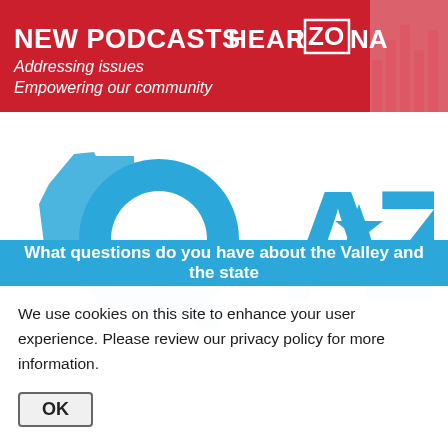[Figure (logo): Red banner with NEW PODCASTS HEARIZONA text and bar chart graphic in background]
[Figure (logo): Q&AZ logo — large blue letters Q and AZ with ampersand, overlaid on Arizona state silhouette in blue]
What questions do you have about the Valley and the state
We use cookies on this site to enhance your user experience. Please review our privacy policy for more information.